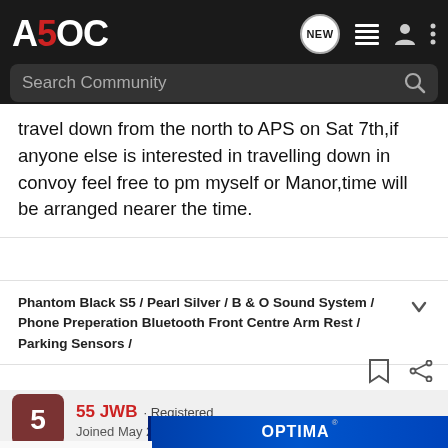A5OC · NEW · Search Community
travel down from the north to APS on Sat 7th,if anyone else is interested in travelling down in convoy feel free to pm myself or Manor,time will be arranged nearer the time.
Phantom Black S5 / Pearl Silver / B & O Sound System / Phone Preperation Bluetooth Front Centre Arm Rest / Parking Sensors /
55 JWB · Registered
Joined May 20, 2008 · 225 Posts
#74 · Ma